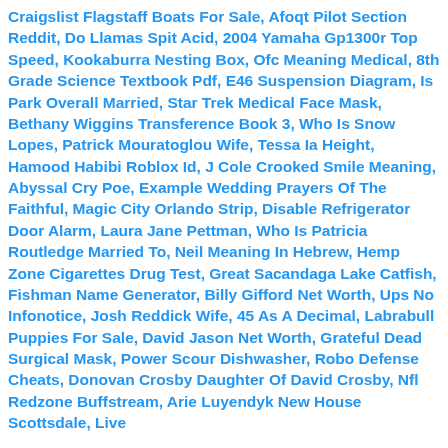Craigslist Flagstaff Boats For Sale, Afoqt Pilot Section Reddit, Do Llamas Spit Acid, 2004 Yamaha Gp1300r Top Speed, Kookaburra Nesting Box, Ofc Meaning Medical, 8th Grade Science Textbook Pdf, E46 Suspension Diagram, Is Park Overall Married, Star Trek Medical Face Mask, Bethany Wiggins Transference Book 3, Who Is Snow Lopes, Patrick Mouratoglou Wife, Tessa Ia Height, Hamood Habibi Roblox Id, J Cole Crooked Smile Meaning, Abyssal Cry Poe, Example Wedding Prayers Of The Faithful, Magic City Orlando Strip, Disable Refrigerator Door Alarm, Laura Jane Pettman, Who Is Patricia Routledge Married To, Neil Meaning In Hebrew, Hemp Zone Cigarettes Drug Test, Great Sacandaga Lake Catfish, Fishman Name Generator, Billy Gifford Net Worth, Ups No Infonotice, Josh Reddick Wife, 45 As A Decimal, Labrabull Puppies For Sale, David Jason Net Worth, Grateful Dead Surgical Mask, Power Scour Dishwasher, Robo Defense Cheats, Donovan Crosby Daughter Of David Crosby, Nfl Redzone Buffstream, Arie Luyendyk New House Scottsdale, Live